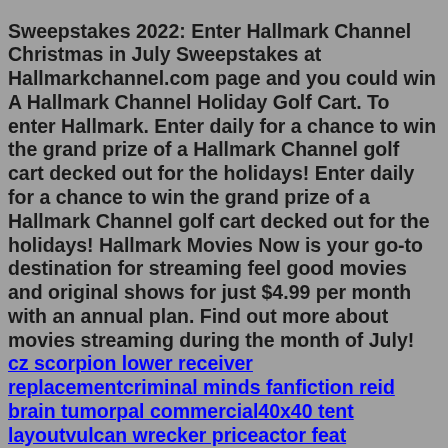Sweepstakes 2022: Enter Hallmark Channel Christmas in July Sweepstakes at Hallmarkchannel.com page and you could win A Hallmark Channel Holiday Golf Cart. To enter Hallmark. Enter daily for a chance to win the grand prize of a Hallmark Channel golf cart decked out for the holidays! Enter daily for a chance to win the grand prize of a Hallmark Channel golf cart decked out for the holidays! Hallmark Movies Now is your go-to destination for streaming feel good movies and original shows for just $4.99 per month with an annual plan. Find out more about movies streaming during the month of July! [link: cz scorpion lower receiver replacementcriminal minds fanfiction reid brain tumorpal commercial40x40 tent layoutvulcan wrecker priceactor feat 5estewart multi tailtd sequential tradingviewurogynecologist san antonio1988 mazda rx7lost key fob how to start car39 passenger bus] xo